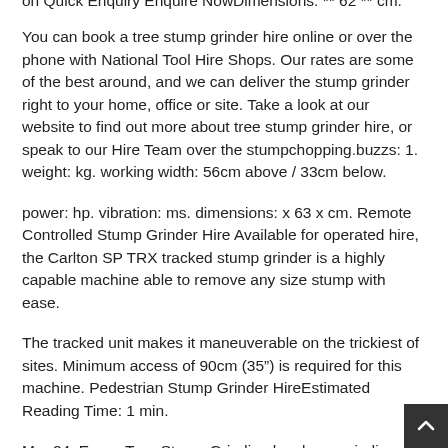on Quick Enquiry Enquire NowDimensions: ** 62 ** cm.
You can book a tree stump grinder hire online or over the phone with National Tool Hire Shops. Our rates are some of the best around, and we can deliver the stump grinder right to your home, office or site. Take a look at our website to find out more about tree stump grinder hire, or speak to our Hire Team over the stumpchopping.buzzs: 1. weight: kg. working width: 56cm above / 33cm below.
power: hp. vibration: ms. dimensions: x 63 x cm. Remote Controlled Stump Grinder Hire Available for operated hire, the Carlton SP TRX tracked stump grinder is a highly capable machine able to remove any size stump with ease.
The tracked unit makes it maneuverable on the trickiest of sites. Minimum access of 90cm (35") is required for this machine. Pedestrian Stump Grinder HireEstimated Reading Time: 1 min.
Mar 24, Essex Tree Stump Grinding has been grinding out tree stumps since [ad_1] A narrow width tracked tree stump grinder for hire with operator covering, Essex, Suffolk, Cambs and Hertfordshire. The most productive high-performance easy